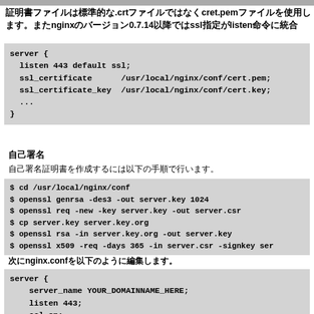証明書ファイルは標準的な.crtファイルではなくcret.pemファイルを使用します。またnginxのバージョン0.7.14以降ではssl指定がlisten命令に統合
[Figure (screenshot): Nginx server config block with listen 443 default ssl, ssl_certificate and ssl_certificate_key directives]
自己署名
自己署名証明書を作成するには以下の手順で行います。
[Figure (screenshot): Shell commands: cd /usr/local/nginx/conf, openssl genrsa, openssl req, cp server.key, openssl rsa, openssl x509]
次にnginx.confを以下のように編集します。
[Figure (screenshot): Nginx server block with server_name YOUR_DOMAINNAME_HERE, listen 443, ssl on]